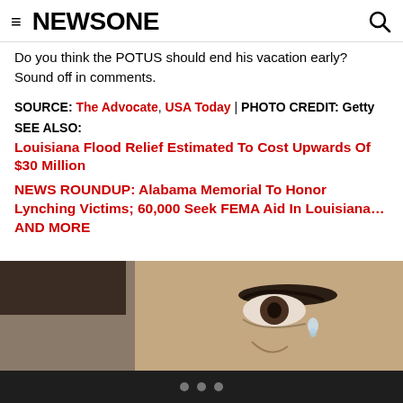≡ NEWSONE 🔍
Do you think the POTUS should end his vacation early? Sound off in comments.
SOURCE: The Advocate, USA Today | PHOTO CREDIT: Getty
SEE ALSO:
Louisiana Flood Relief Estimated To Cost Upwards Of $30 Million
NEWS ROUNDUP: Alabama Memorial To Honor Lynching Victims; 60,000 Seek FEMA Aid In Louisiana…AND MORE
[Figure (photo): Close-up photograph of a person's face, showing eye area with a tear, against a beige/tan background. Below the photo is a dark navigation bar with three dot indicators.]